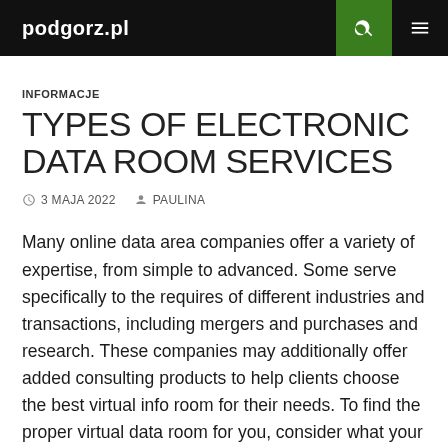podgorz.pl
INFORMACJE
TYPES OF ELECTRONIC DATA ROOM SERVICES
3 MAJA 2022  PAULINA
Many online data area companies offer a variety of expertise, from simple to advanced. Some serve specifically to the requires of different industries and transactions, including mergers and purchases and research. These companies may additionally offer added consulting products to help clients choose the best virtual info room for their needs. To find the proper virtual data room for you, consider what your unique business needs happen to be. Below are a few common types